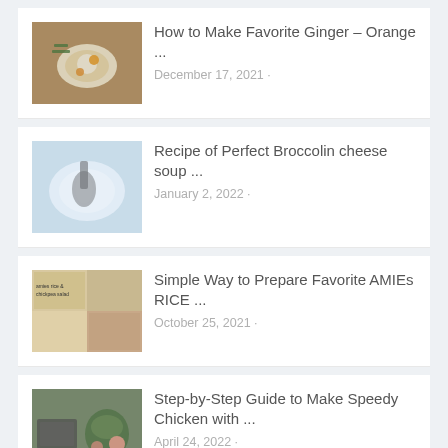How to Make Favorite Ginger – Orange ...
December 17, 2021 ·
Recipe of Perfect Broccolin cheese soup ...
January 2, 2022 ·
Simple Way to Prepare Favorite AMIEs RICE ...
October 25, 2021 ·
Step-by-Step Guide to Make Speedy Chicken with ...
April 24, 2022 ·
Recipe of Ultimate Pasta with roasted cauliflower, ...